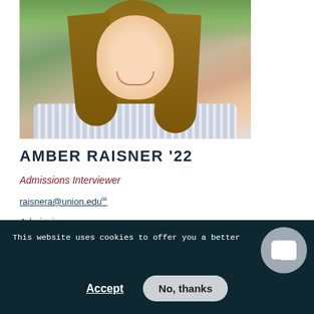[Figure (photo): Headshot photo of Amber Raisner, a young woman with long brown hair, smiling, wearing a striped shirt, outdoors with green background]
AMBER RAISNER '22
Admissions Interviewer
raisnera@union.edu
Admissions
This website uses cookies to offer you a better browsing ex...
Accept
No, thanks